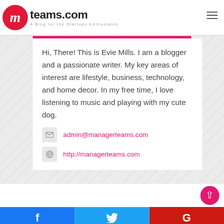[Figure (logo): mteams.com logo with red circle containing italic 'm', bold site name, and tagline 'A Blog for the Startups Enthusiasts']
Hi, There! This is Evie Mills. I am a blogger and a passionate writer. My key areas of interest are lifestyle, business, technology, and home decor. In my free time, I love listening to music and playing with my cute dog.
admin@managerteams.com
http://managerteams.com
Facebook  Twitter  Google+